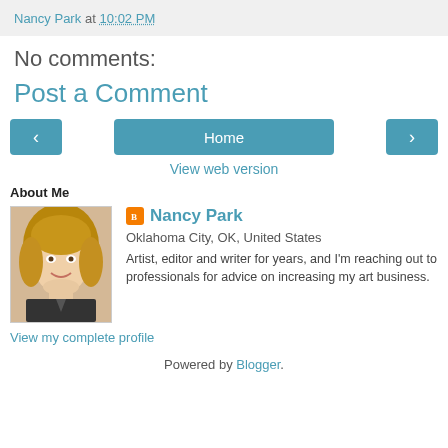Nancy Park at 10:02 PM
No comments:
Post a Comment
[Figure (other): Navigation bar with left arrow button, Home button, and right arrow button]
View web version
About Me
[Figure (photo): Profile photo of Nancy Park, a woman with blonde hair]
Nancy Park
Oklahoma City, OK, United States
Artist, editor and writer for years, and I'm reaching out to professionals for advice on increasing my art business.
View my complete profile
Powered by Blogger.